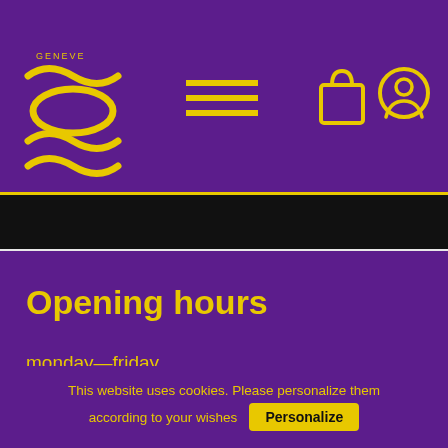[Figure (logo): OSR Geneve logo in yellow on purple background]
[Figure (illustration): Hamburger menu icon (three horizontal yellow lines)]
[Figure (illustration): Shopping bag and user profile icons in yellow]
Opening hours
monday—friday
10am-12pm and 13pm-6pm
FOLLOW US
This website uses cookies. Please personalize them according to your wishes  Personalize